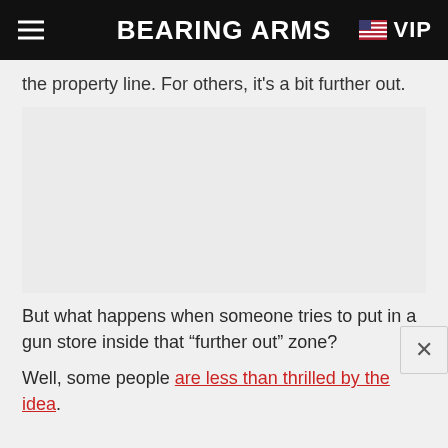BEARING ARMS VIP
the property line. For others, it's a bit further out.
But what happens when someone tries to put in a gun store inside that “further out” zone?
Well, some people are less than thrilled by the idea.